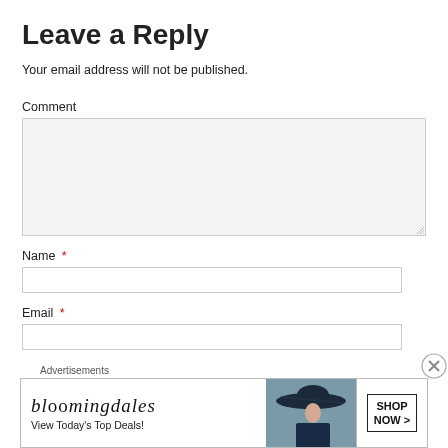Leave a Reply
Your email address will not be published.
Comment
Name *
Email *
Website
[Figure (other): Advertisement banner for Bloomingdale's showing a woman with a wide-brim hat, brand name in italic serif font, tagline 'View Today's Top Deals!' and a 'SHOP NOW >' call-to-action button]